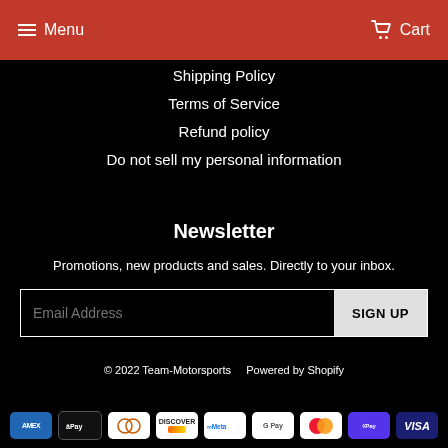Menu  Cart
Shipping Policy
Terms of Service
Refund policy
Do not sell my personal information
Newsletter
Promotions, new products and sales. Directly to your inbox.
Email Address  SIGN UP
© 2022 Team-Motorsports   Powered by Shopify
[Figure (other): Payment method icons: American Express, Apple Pay, Diners Club, Discover, Meta Pay, Google Pay, Mastercard, Shop Pay, Visa]